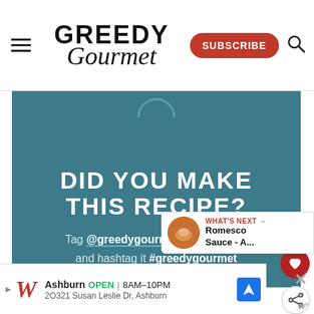Greedy Gourmet — SUBSCRIBE
[Figure (infographic): Teal banner with text: DID YOU MAKE THIS RECIPE? Tag @greedygourmet on Instagram and hashtag it #greedygourmet]
DID YOU MAKE THIS RECIPE?
Tag @greedygourmet on Instagram and hashtag it #greedygourmet
WHAT'S NEXT → Romesco Sauce - A...
Ashburn OPEN | 8AM–10PM 2O321 Susan Leslie Dr, Ashburn